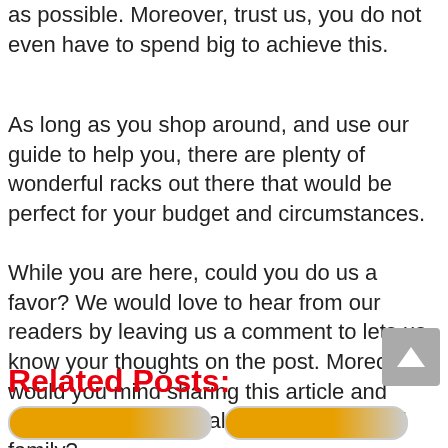as possible. Moreover, trust us, you do not even have to spend big to achieve this.
As long as you shop around, and use our guide to help you, there are plenty of wonderful racks out there that would be perfect for your budget and circumstances.
While you are here, could you do us a favor? We would love to hear from our readers by leaving us a comment to lets us know your thoughts on the post. Moreover, would you mind sharing this article and others with your social media friends and family?
Related Posts: